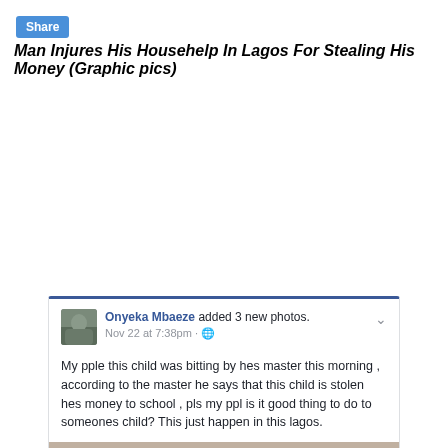Share
Man Injures His Househelp In Lagos For Stealing His Money (Graphic pics)
[Figure (screenshot): Facebook post screenshot by Onyeka Mbaeze with text: 'My pple this child was bitting by hes master this morning , according to the master he says that this child is stolen hes money to school , pls my ppl is it good thing to do to someones child? This just happen in this lagos.' Below the text is a graphic photo of an injured child with blood on their head.]